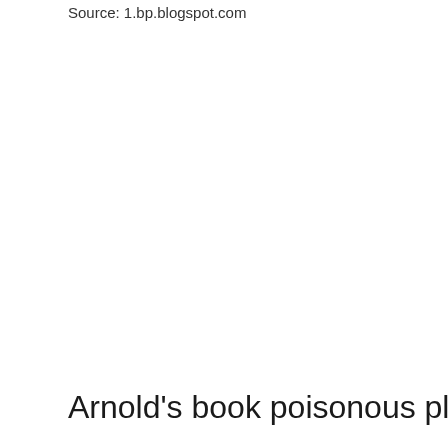Source: 1.bp.blogspot.com
Arnold's book poisonous plants of.